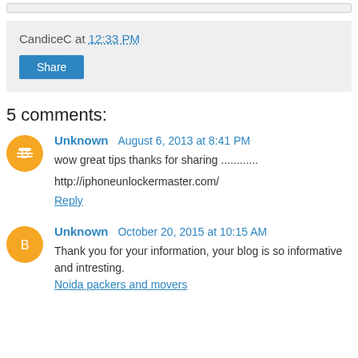CandiceC at 12:33 PM
Share
5 comments:
Unknown August 6, 2013 at 8:41 PM
wow great tips thanks for sharing ...........
http://iphoneunlockermaster.com/
Reply
Unknown October 20, 2015 at 10:15 AM
Thank you for your information, your blog is so informative and intresting.
Noida packers and movers